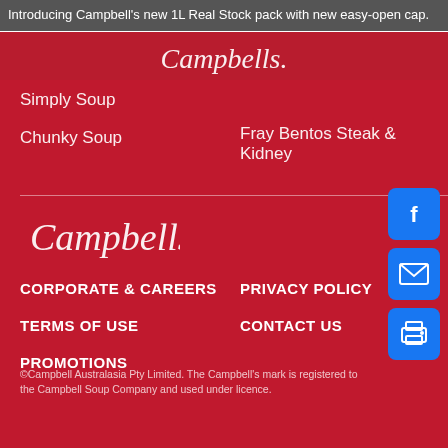Introducing Campbell's new 1L Real Stock pack with new easy-open cap.
Simply Soup
Chunky Soup
Fray Bentos Steak & Kidney
[Figure (logo): Campbell's cursive script logo in white on red background]
CORPORATE & CAREERS
PRIVACY POLICY
TERMS OF USE
CONTACT US
PROMOTIONS
[Figure (other): Facebook, email, and print social/action icon buttons in blue]
©Campbell Australasia Pty Limited. The Campbell's mark is registered to the Campbell Soup Company and used under licence.